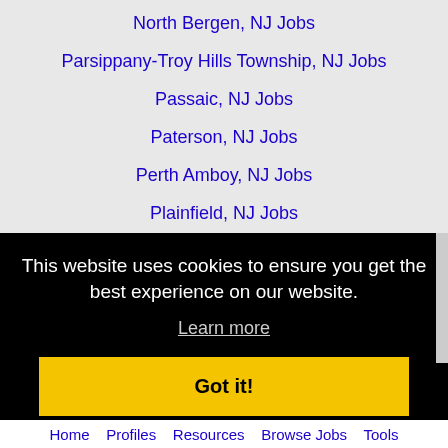North Bergen, NJ Jobs
Parsippany-Troy Hills Township, NJ Jobs
Passaic, NJ Jobs
Paterson, NJ Jobs
Perth Amboy, NJ Jobs
Plainfield, NJ Jobs
Reading, PA Jobs
Sayreville, NJ Jobs
Trenton, NJ Jobs
This website uses cookies to ensure you get the best experience on our website.
Learn more
Got it!
Home  Profiles  Resources  Browse Jobs  Tools